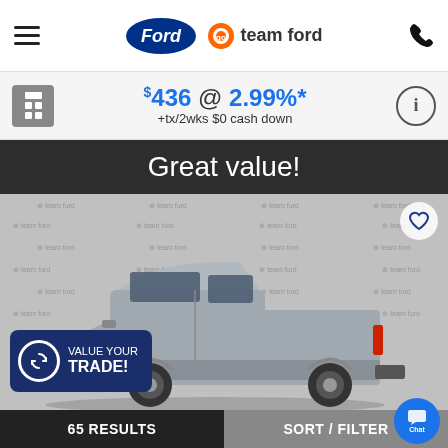Ford / Go Team Ford
$436 @ 2.99%* +tx/2wks $0 cash down
[Figure (photo): Gray Ford F-150 pickup truck displayed in front of a Go Team Ford branded backdrop. Banner reads 'Great value!' above the vehicle. A 'VALUE YOUR TRADE!' badge is overlaid on the lower left.]
65 RESULTS   SORT / FILTER   Chat